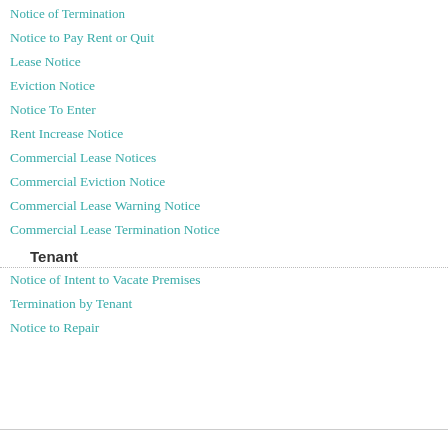Notice of Termination
Notice to Pay Rent or Quit
Lease Notice
Eviction Notice
Notice To Enter
Rent Increase Notice
Commercial Lease Notices
Commercial Eviction Notice
Commercial Lease Warning Notice
Commercial Lease Termination Notice
Tenant
Notice of Intent to Vacate Premises
Termination by Tenant
Notice to Repair